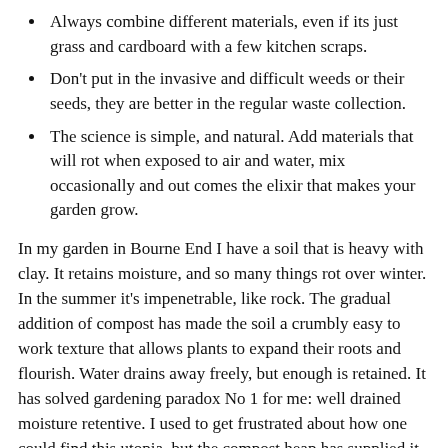Always combine different materials, even if its just grass and cardboard with a few kitchen scraps.
Don't put in the invasive and difficult weeds or their seeds, they are better in the regular waste collection.
The science is simple, and natural. Add materials that will rot when exposed to air and water, mix occasionally and out comes the elixir that makes your garden grow.
In my garden in Bourne End I have a soil that is heavy with clay. It retains moisture, and so many things rot over winter. In the summer it's impenetrable, like rock. The gradual addition of compost has made the soil a crumbly easy to work texture that allows plants to expand their roots and flourish. Water drains away freely, but enough is retained. It has solved gardening paradox No 1 for me: well drained moisture retentive. I used to get frustrated about how one could find this utopia, but the compost heap has supplied it. And there are other benefits, in addition to the £300 or more that I don't have to spend on the same volume of bought in compost to put on my beds.